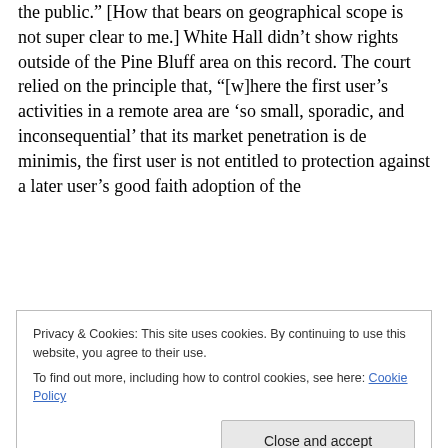the public." [How that bears on geographical scope is not super clear to me.] White Hall didn't show rights outside of the Pine Bluff area on this record. The court relied on the principle that, "[w]here the first user's activities in a remote area are 'so small, sporadic, and inconsequential' that its market penetration is de minimis, the first user is not entitled to protection against a later user's good faith adoption of the
Privacy & Cookies: This site uses cookies. By continuing to use this website, you agree to their use.
To find out more, including how to control cookies, see here: Cookie Policy
[Close and accept]